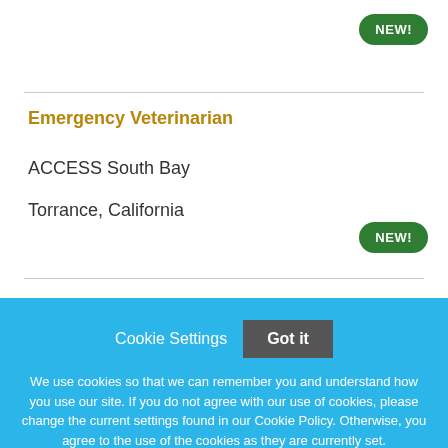[Figure (other): Green 'NEW!' badge pill in top-right area]
Emergency Veterinarian
ACCESS South Bay
Torrance, California
[Figure (other): Green 'NEW!' badge pill in mid-right area]
Cookie Settings
Got it
We use cookies so that we can remember you and understand how you use our site. If you do not agree with our use of cookies, please change the current settings found in our Cookie Policy. Otherwise, you agree to the use of the cookies as they are currently set.